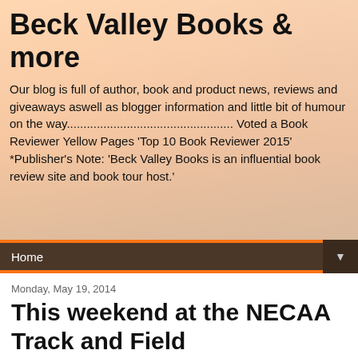Beck Valley Books & more
Our blog is full of author, book and product news, reviews and giveaways aswell as blogger information and little bit of humour on the way.................................................. Voted a Book Reviewer Yellow Pages 'Top 10 Book Reviewer 2015' *Publisher's Note: 'Beck Valley Books is an influential book review site and book tour host.'
Home
Monday, May 19, 2014
This weekend at the NECAA Track and Field Championships at Gateshead Stadium
We spent both Saturday and Sunday this week over at Gateshead International Stadium to watch the North Eastern Counties Athletic Association Track and Field